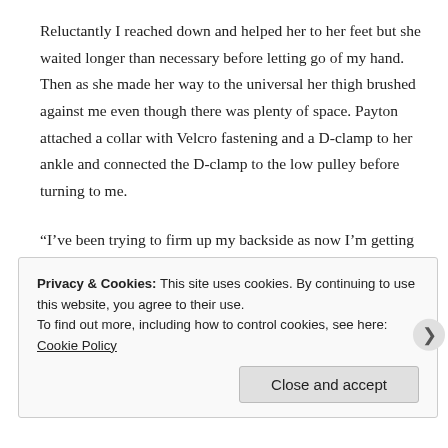Reluctantly I reached down and helped her to her feet but she waited longer than necessary before letting go of my hand. Then as she made her way to the universal her thigh brushed against me even though there was plenty of space. Payton attached a collar with Velcro fastening and a D-clamp to her ankle and connected the D-clamp to the low pulley before turning to me.
“I’ve been trying to firm up my backside as now I’m getting older and I don’t want to fall apart but I don’t think I’m doing it right Rob.”
Privacy & Cookies: This site uses cookies. By continuing to use this website, you agree to their use.
To find out more, including how to control cookies, see here: Cookie Policy
Close and accept